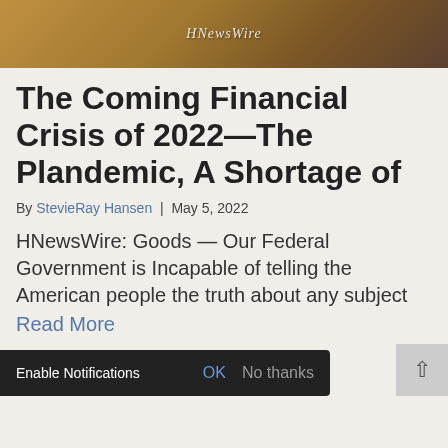[Figure (photo): Header image showing a person in a desert or sandy landscape with HNewsWire watermark text overlay]
The Coming Financial Crisis of 2022—The Plandemic, A Shortage of
By StevieRay Hansen | May 5, 2022
HNewsWire: Goods — Our Federal Government is Incapable of telling the American people the truth about any subject
Read More